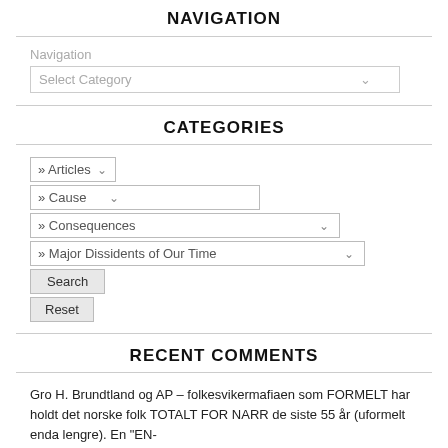NAVIGATION
Navigation
Select Category
CATEGORIES
» Articles
» Cause
» Consequences
» Major Dissidents of Our Time
Search
Reset
RECENT COMMENTS
Gro H. Brundtland og AP – folkesvikermafiaen som FORMELT har holdt det norske folk TOTALT FOR NARR de siste 55 år (uformelt enda lengre). En "EN-